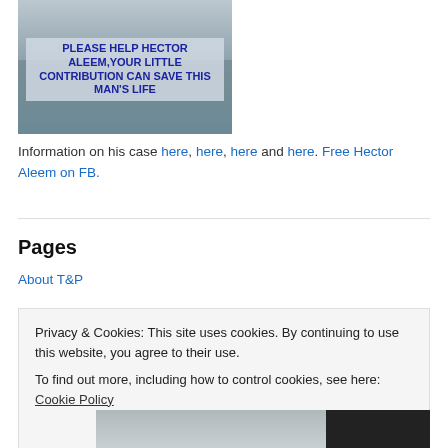[Figure (photo): Photo of a man (Hector Aleem) with overlay text asking for help]
Information on his case here, here, here and here. Free Hector Aleem on FB.
Pages
About T&P
Privacy & Cookies: This site uses cookies. By continuing to use this website, you agree to their use.
To find out more, including how to control cookies, see here: Cookie Policy
Close and accept